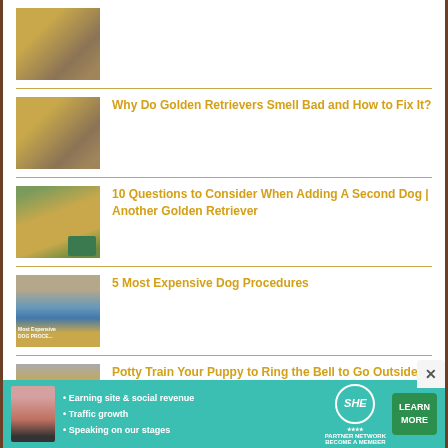[Figure (photo): Thumbnail of a golden retriever dog, partially visible at top]
Why Do Golden Retrievers Smell Bad and How to Fix It?
10 Questions to Consider When Adding A Second Dog | Another Golden Retriever
5 Most Expensive Dog Procedures
Potty Train Your Puppy to Ring the Bell to Go Outside
[Figure (infographic): SHE Partner Network advertisement banner with woman photo, bullet points about earning site & social revenue, traffic growth, speaking on stages, SHE logo, and LEARN MORE button]